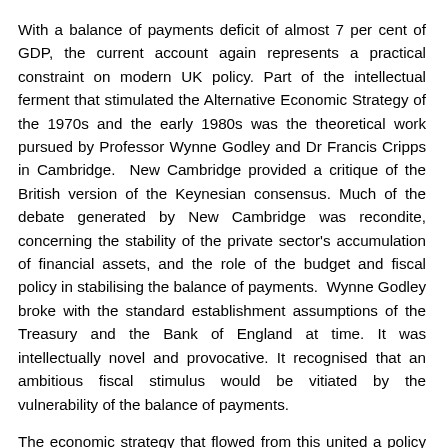With a balance of payments deficit of almost 7 per cent of GDP, the current account again represents a practical constraint on modern UK policy. Part of the intellectual ferment that stimulated the Alternative Economic Strategy of the 1970s and the early 1980s was the theoretical work pursued by Professor Wynne Godley and Dr Francis Cripps in Cambridge. New Cambridge provided a critique of the British version of the Keynesian consensus. Much of the debate generated by New Cambridge was recondite, concerning the stability of the private sector's accumulation of financial assets, and the role of the budget and fiscal policy in stabilising the balance of payments. Wynne Godley broke with the standard establishment assumptions of the Treasury and the Bank of England at time. It was intellectually novel and provocative. It recognised that an ambitious fiscal stimulus would be vitiated by the vulnerability of the balance of payments.
The economic strategy that flowed from this united a policy agenda to square full employment and sustained economic growth